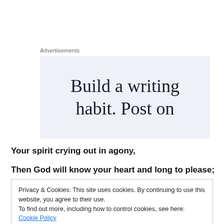Advertisements
[Figure (other): Advertisement banner with text: Build a writing habit. Post on]
Your spirit crying out in agony,
Then God will know your heart and long to please;
Privacy & Cookies: This site uses cookies. By continuing to use this website, you agree to their use.
To find out more, including how to control cookies, see here: Cookie Policy